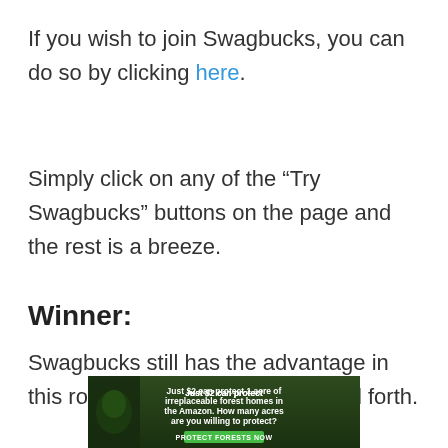If you wish to join Swagbucks, you can do so by clicking here.
Simply click on any of the “Try Swagbucks” buttons on the page and the rest is a breeze.
Winner:
Swagbucks still has the advantage in this round, without going back and forth.
[Figure (infographic): Advertisement banner: 'Just $2 can protect 1 acre of irreplaceable forest homes in the Amazon. How many acres are you willing to protect?' with a green 'PROTECT FORESTS NOW' button and forest background imagery.]